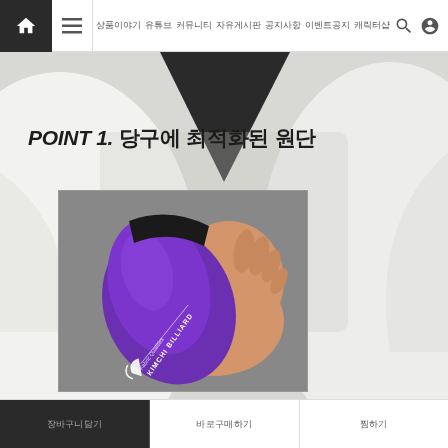Navigation bar with home, menu, links and icons
[Figure (photo): Product page showing billiard glove. Top section shows white/gray fabric background with dark triangular shape. Text overlay reads 'POINT 1. 당구에 최적화된 원단'. Below is a photo of a hand holding a purple billiard glove with 'KIMCHI BILLIARD' logo printed in white.]
장바구니담기 | 바로구매하기 | 찜하기